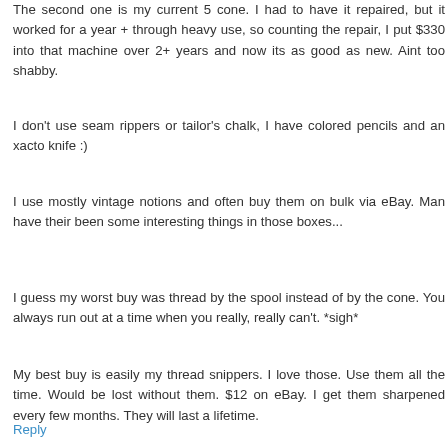The second one is my current 5 cone. I had to have it repaired, but it worked for a year + through heavy use, so counting the repair, I put $330 into that machine over 2+ years and now its as good as new. Aint too shabby.
I don't use seam rippers or tailor's chalk, I have colored pencils and an xacto knife :)
I use mostly vintage notions and often buy them on bulk via eBay. Man have their been some interesting things in those boxes...
I guess my worst buy was thread by the spool instead of by the cone. You always run out at a time when you really, really can't. *sigh*
My best buy is easily my thread snippers. I love those. Use them all the time. Would be lost without them. $12 on eBay. I get them sharpened every few months. They will last a lifetime.
Reply